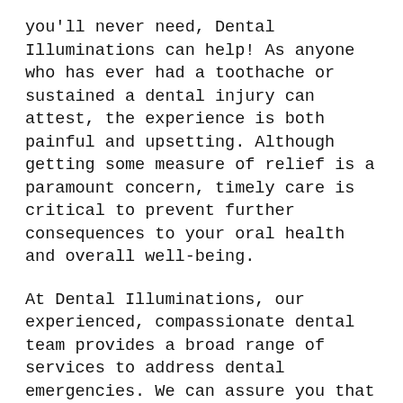you'll never need, Dental Illuminations can help! As anyone who has ever had a toothache or sustained a dental injury can attest, the experience is both painful and upsetting. Although getting some measure of relief is a paramount concern, timely care is critical to prevent further consequences to your oral health and overall well-being.
At Dental Illuminations, our experienced, compassionate dental team provides a broad range of services to address dental emergencies. We can assure you that your smile is in the best of hands with us. Patient care and comfort are our top priorities. Our practice maintains a position at the forefront of advances in diagnostic and treatment technology to provide precise, gentle, and safe care.
We treat many types of dental emergencies and some would add that to include...